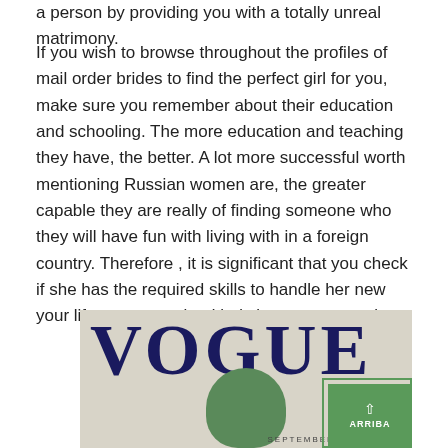a person by providing you with a totally unreal matrimony.
If you wish to browse throughout the profiles of mail order brides to find the perfect girl for you, make sure you remember about their education and schooling. The more education and teaching they have, the better. A lot more successful worth mentioning Russian women are, the greater capable they are really of finding someone who they will have fun with living with in a foreign country. Therefore , it is significant that you check if she has the required skills to handle her new your life as a committed lady in a strange region.
[Figure (photo): Vogue magazine cover showing the Vogue logo in large dark blue serif letters with a woman wearing a green hat/turban visible below the text. An 'ARRIBA' button overlay appears in the bottom right corner.]